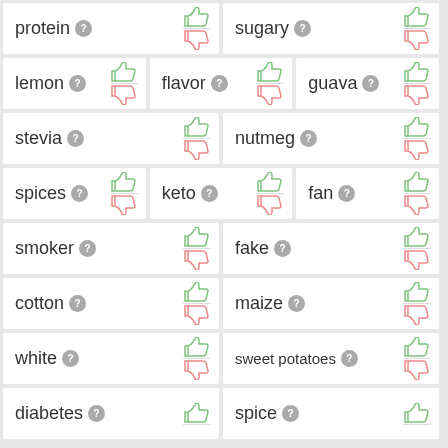protein
sugary
lemon
flavor
guava
stevia
nutmeg
spices
keto
fan
smoker
fake
cotton
maize
white
sweet potatoes
diabetes
spice